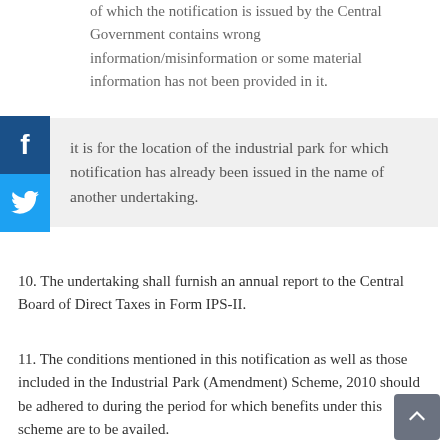of which the notification is issued by the Central Government contains wrong information/misinformation or some material information has not been provided in it.
it is for the location of the industrial park for which notification has already been issued in the name of another undertaking.
10. The undertaking shall furnish an annual report to the Central Board of Direct Taxes in Form IPS-II.
11. The conditions mentioned in this notification as well as those included in the Industrial Park (Amendment) Scheme, 2010 should be adhered to during the period for which benefits under this scheme are to be availed.